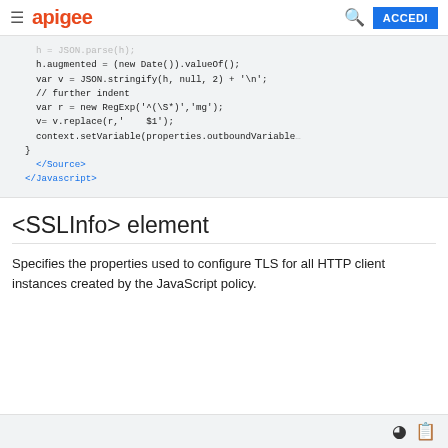apigee  [search] ACCEDI
[Figure (screenshot): Code block showing JavaScript snippet with h.augmented, JSON.stringify, RegExp, v.replace, context.setVariable, </Source>, </Javascript> tags in monospace font on light gray background]
<SSLInfo> element
Specifies the properties used to configure TLS for all HTTP client instances created by the JavaScript policy.
[Figure (screenshot): Bottom code block area with dark mode toggle and copy icon buttons]